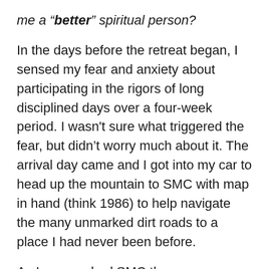me a “better” spiritual person?
In the days before the retreat began, I sensed my fear and anxiety about participating in the rigors of long disciplined days over a four-week period. I wasn't sure what triggered the fear, but didn’t worry much about it. The arrival day came and I got into my car to head up the mountain to SMC with map in hand (think 1986) to help navigate the many unmarked dirt roads to a place I had never been before.
As I approached SMC the map indicated a left turn, but the map didn’t know that I had miscalculated the mileage. I turned left, had obviously taken a wrong turn, and thus panicked. The immediate sense of panic, buoyed by the preceding days of fear and anxiety, sent me fleeing back down the